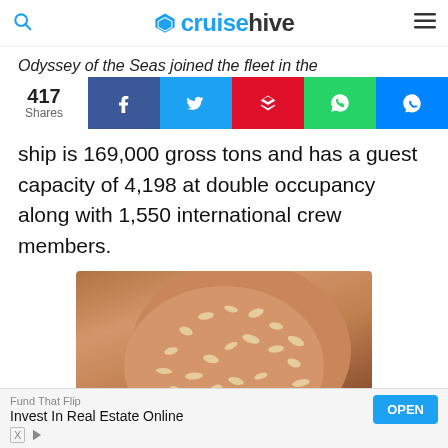cruisehive
Odyssey of the Seas joined the fleet in the
417 Shares — social share bar with Facebook, Twitter, Flipboard, WhatsApp, Messenger
ship is 169,000 gross tons and has a guest capacity of 4,198 at double occupancy along with 1,550 international crew members.
[Figure (photo): Close-up of a person's face covered in an oatmeal or grain-based face mask/scrub]
Plastic Surgeon Says: This
Fund That Flip
Invest In Real Estate Online
OPEN